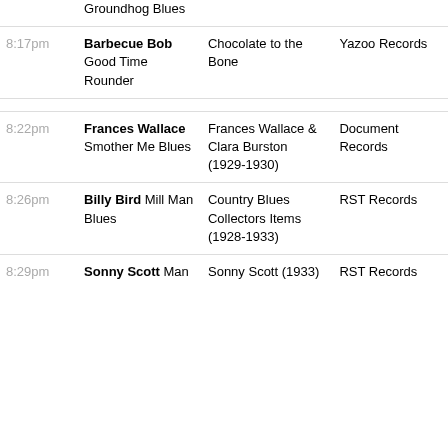| Time | Artist / Song | Album | Label |
| --- | --- | --- | --- |
|  | Groundhog Blues |  |  |
| 8:17pm | Barbecue Bob  Good Time Rounder | Chocolate to the Bone | Yazoo Records |
| 8:22pm | Frances Wallace  Smother Me Blues | Frances Wallace & Clara Burston (1929-1930) | Document Records |
| 8:26pm | Billy Bird  Mill Man Blues | Country Blues Collectors Items (1928-1933) | RST Records |
| 8:29pm | Sonny Scott  Man | Sonny Scott (1933) | RST Records |